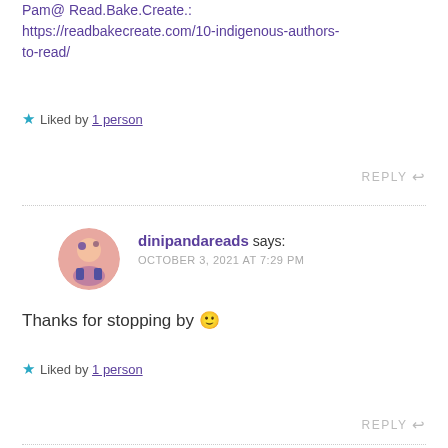Pam@ Read.Bake.Create.: https://readbakecreate.com/10-indigenous-authors-to-read/
★ Liked by 1 person
REPLY ↩
dinipandareads says: OCTOBER 3, 2021 AT 7:29 PM
Thanks for stopping by 🙂
★ Liked by 1 person
REPLY ↩